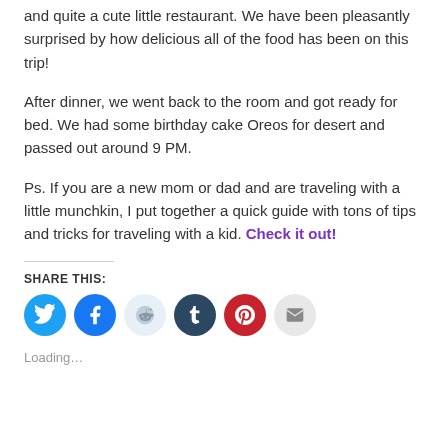and quite a cute little restaurant. We have been pleasantly surprised by how delicious all of the food has been on this trip!
After dinner, we went back to the room and got ready for bed. We had some birthday cake Oreos for desert and passed out around 9 PM.
Ps. If you are a new mom or dad and are traveling with a little munchkin, I put together a quick guide with tons of tips and tricks for traveling with a kid. Check it out!
SHARE THIS:
[Figure (infographic): Row of social share icon buttons: Twitter (blue), Facebook (blue), Reddit (light blue), Tumblr (dark blue), Pinterest (red), Email (gray)]
Loading...